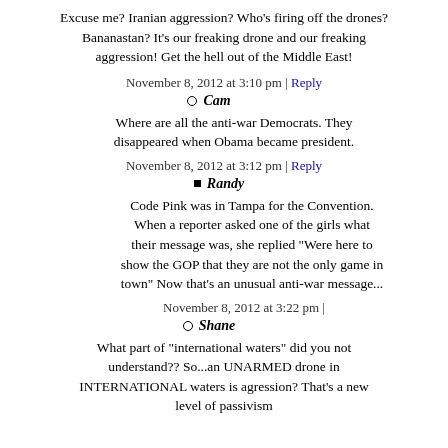Excuse me? Iranian aggression? Who's firing off the drones? Bananastan? It's our freaking drone and our freaking aggression! Get the hell out of the Middle East!
November 8, 2012 at 3:10 pm | Reply
Cam
Where are all the anti-war Democrats. They disappeared when Obama became president.
November 8, 2012 at 3:12 pm | Reply
Randy
Code Pink was in Tampa for the Convention. When a reporter asked one of the girls what their message was, she replied "Were here to show the GOP that they are not the only game in town" Now that's an unusual anti-war message...
November 8, 2012 at 3:22 pm |
Shane
What part of "international waters" did you not understand?? So...an UNARMED drone in INTERNATIONAL waters is agression? That's a new level of passivism